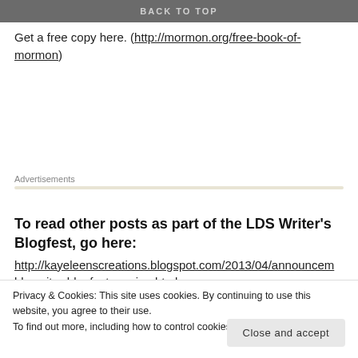BACK TO TOP
Get a free copy here. (http://mormon.org/free-book-of-mormon)
Advertisements
To read other posts as part of the LDS Writer's Blogfest, go here:
http://kayeleenscreations.blogspot.com/2013/04/announcem lds-writer-blogfest-coming.html
Privacy & Cookies: This site uses cookies. By continuing to use this website, you agree to their use.
To find out more, including how to control cookies, see here: Cookie Policy
Close and accept
[Figure (photo): Partial image strip at the bottom showing MAY 2018 text in teal on a colorful background]